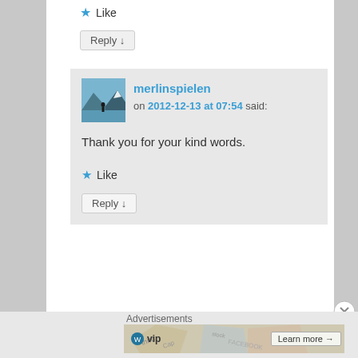★ Like
Reply ↓
merlinspielen on 2012-12-13 at 07:54 said:
Thank you for your kind words.
★ Like
Reply ↓
Advertisements
[Figure (screenshot): WordPress VIP advertisement banner with 'Learn more →' button]